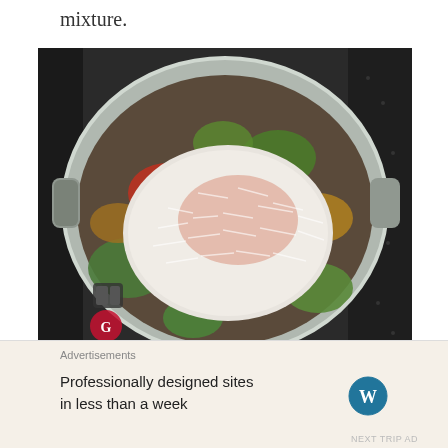mixture.
[Figure (photo): A large silver pressure cooker pot viewed from above, sitting on a stovetop. The pot contains cooked vegetables (broccoli, green beans, peas, tomatoes, yellow vegetables) topped with a large mound of white shredded coconut or rice with orange spices sprinkled on top.]
Add chopped coriander to the pan.
Advertisements
Professionally designed sites in less than a week